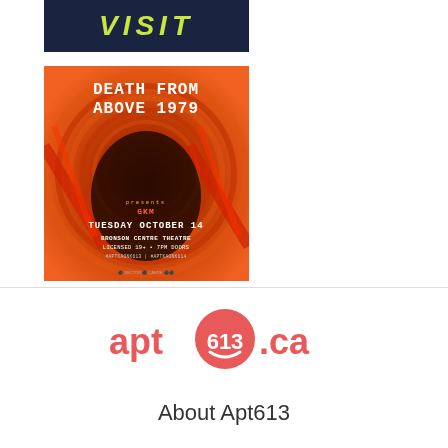[Figure (other): Dark blue banner with yellow-green bold italic text reading VISIT]
[Figure (other): Concert poster for Death From Above 1979 event. Orange/red spiral tunnel background with band members silhouetted. Text: DEATH FROM ABOVE 1979, TUESDAY OCTOBER 14, BRONSON CENTRE THEATRE, LICENSED 19+, 7PM DOORS, #APTKAONK613 | #APTKAONK614]
[Figure (logo): apt613.ca logo with red circular emblem containing 613 with a smiley face, flanked by apt and .ca in matching red text]
About Apt613